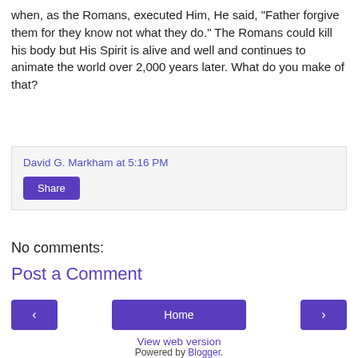when, as the Romans executed Him, He said, "Father forgive them for they know not what they do." The Romans could kill his body but His Spirit is alive and well and continues to animate the world over 2,000 years later. What do you make of that?
David G. Markham at 5:16 PM
Share
No comments:
Post a Comment
‹ Home ›
View web version
Powered by Blogger.